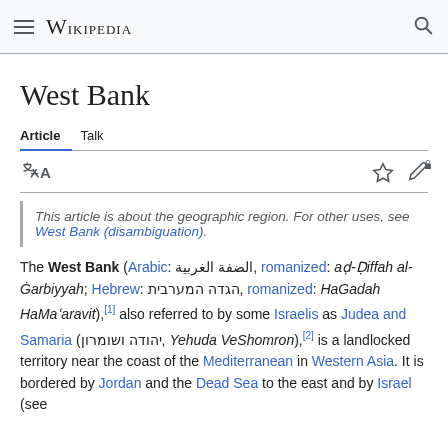Wikipedia
West Bank
Article  Talk
This article is about the geographic region. For other uses, see West Bank (disambiguation).
The West Bank (Arabic: الضفة الغربية, romanized: aḍ-Ḍiffah al-Ġarbiyyah; Hebrew: הגדה המערבית, romanized: HaGadah HaMaʿaravit),[1] also referred to by some Israelis as Judea and Samaria (יהודה ושומרון, Yehuda VeShomron),[2] is a landlocked territory near the coast of the Mediterranean in Western Asia. It is bordered by Jordan and the Dead Sea to the east and by Israel (see